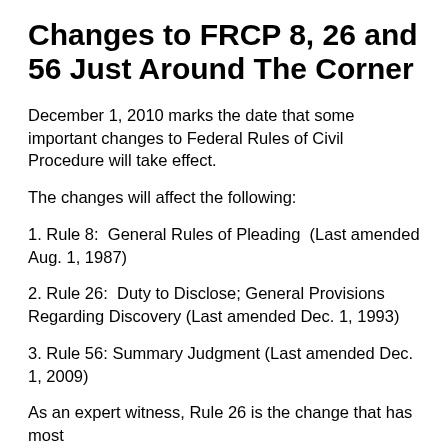Changes to FRCP 8, 26 and 56 Just Around The Corner
December 1, 2010 marks the date that some important changes to Federal Rules of Civil Procedure will take effect.
The changes will affect the following:
1. Rule 8:  General Rules of Pleading  (Last amended Aug. 1, 1987)
2. Rule 26:  Duty to Disclose; General Provisions Regarding Discovery (Last amended Dec. 1, 1993)
3. Rule 56: Summary Judgment (Last amended Dec. 1, 2009)
As an expert witness, Rule 26 is the change that has most